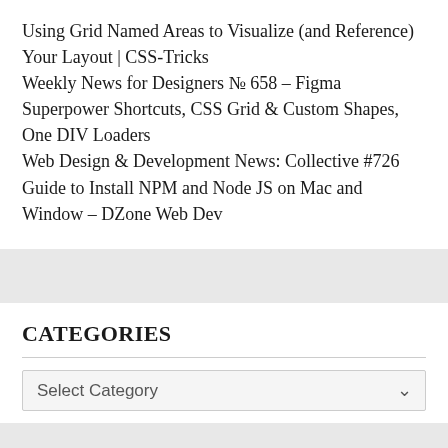Using Grid Named Areas to Visualize (and Reference) Your Layout | CSS-Tricks
Weekly News for Designers № 658 – Figma Superpower Shortcuts, CSS Grid & Custom Shapes, One DIV Loaders
Web Design & Development News: Collective #726
Guide to Install NPM and Node JS on Mac and Window – DZone Web Dev
CATEGORIES